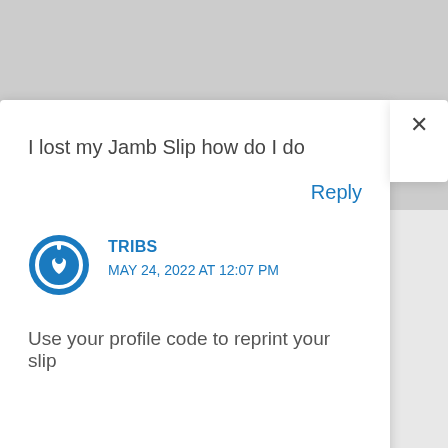I lost my Jamb Slip how do I do
Reply
TRIBS
MAY 24, 2022 AT 12:07 PM
Use your profile code to reprint your slip